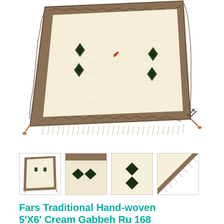[Figure (photo): Main product photo of a cream/beige Gabbeh rug with dark geometric diamond shapes and a small red bird motif, framed with a brown border and fringe tassels at corners. Viewed from above on white background.]
[Figure (photo): Four thumbnail images of the same rug: full overhead view, close-up of diamond motifs, close-up of stacked diamond shapes, and corner/fringe detail.]
Fars Traditional Hand-woven 5'X6' Cream Gabbeh Ru 168